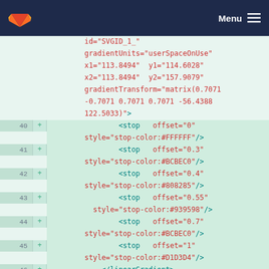GitLab — Menu
Code diff view showing SVG linearGradient XML attributes and stop elements, lines 40-46